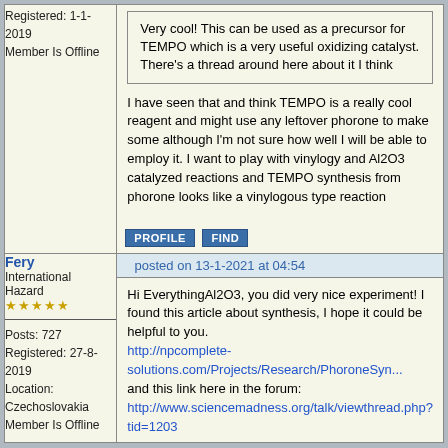Registered: 1-1-2019
Member Is Offline
Very cool! This can be used as a precursor for TEMPO which is a very useful oxidizing catalyst. There's a thread around here about it I think
I have seen that and think TEMPO is a really cool reagent and might use any leftover phorone to make some although I'm not sure how well I will be able to employ it. I want to play with vinylogy and Al2O3 catalyzed reactions and TEMPO synthesis from phorone looks like a vinylogous type reaction
PROFILE  FIND
Fery
International Hazard
★★★★★
Posts: 727
Registered: 27-8-2019
Location: Czechoslovakia
Member Is Offline
posted on 13-1-2021 at 04:54
Hi EverythingAl2O3, you did very nice experiment! I found this article about synthesis, I hope it could be helpful to you.
http://npcomplete-solutions.com/Projects/Research/PhoroneSyn...
and this link here in the forum:
http://www.sciencemadness.org/talk/viewthread.php?tid=1203